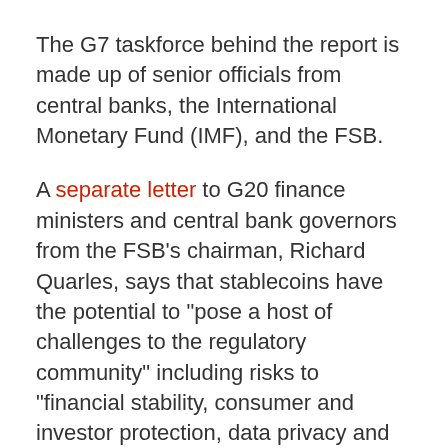The G7 taskforce behind the report is made up of senior officials from central banks, the International Monetary Fund (IMF), and the FSB.
A separate letter to G20 finance ministers and central bank governors from the FSB's chairman, Richard Quarles, says that stablecoins have the potential to “pose a host of challenges to the regulatory community” including risks to “financial stability, consumer and investor protection, data privacy and protection, financial integrity including AML/CFT and know-you-customer compliance, mitigation of tax evasion, fair competition and anti-trust policy, market integrity, sound and efficient governance, cyber security and operation risks, and an appropriate legal basis”.